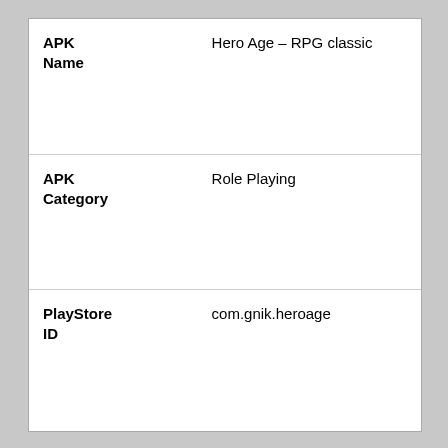| APK Name | Hero Age – RPG classic |
| APK Category | Role Playing |
| PlayStore ID | com.gnik.heroage |